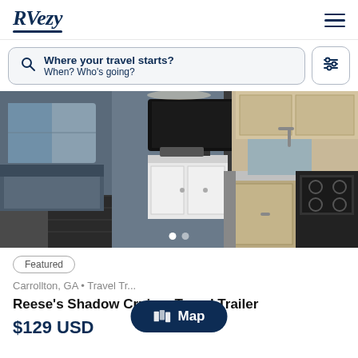[Figure (logo): RVezy logo in dark navy italic serif font with underline]
Where your travel starts?
When? Who's going?
[Figure (photo): Interior of a travel trailer showing kitchen area with white cabinets, dark wood floor, wall-mounted TV, and living area]
Featured
Carrollton, GA • Travel Tr...
Reese's Shadow Cruiser Travel Trailer
$129 USD
Map